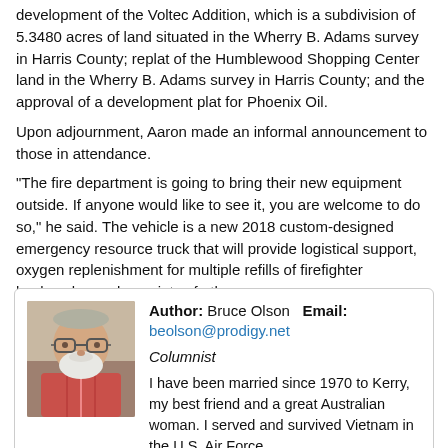development of the Voltec Addition, which is a subdivision of 5.3480 acres of land situated in the Wherry B. Adams survey in Harris County; replat of the Humblewood Shopping Center land in the Wherry B. Adams survey in Harris County; and the approval of a development plat for Phoenix Oil.
Upon adjournment, Aaron made an informal announcement to those in attendance.
"The fire department is going to bring their new equipment outside. If anyone would like to see it, you are welcome to do so," he said. The vehicle is a new 2018 custom-designed emergency resource truck that will provide logistical support, oxygen replenishment for multiple refills of firefighter backpacks, and a variety of other emergency uses.
[Figure (photo): Headshot photo of author Bruce Olson, older man with white beard and glasses]
Author: Bruce Olson   Email: beolson@prodigy.net
Columnist
I have been married since 1970 to Kerry, my best friend and a great Australian woman. I served and survived Vietnam in the U.S. Air Force. I fought forest fires in the summer while in college, where I earned a B.A. in economics from Oklahoma State University and an M.B.A. from the University of Texas. I retired from...